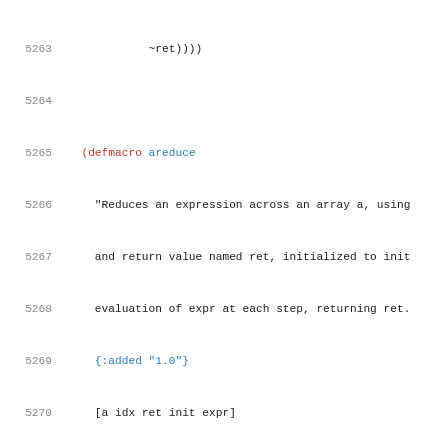Source code listing, lines 5263–5285, Clojure core library definitions for areduce and float-array macros/functions